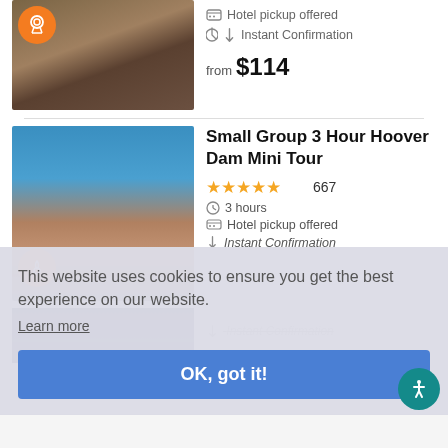[Figure (screenshot): Aerial view of canyon/dam with orange badge award icon overlay]
Hotel pickup offered
Instant Confirmation
from $114
[Figure (photo): Aerial photo of Hoover Dam with blue reservoir water and concrete dam structure]
Small Group 3 Hour Hoover Dam Mini Tour
★★★★★ 667
3 hours
Hotel pickup offered
Instant Confirmation
This website uses cookies to ensure you get the best experience on our website.
Learn more
OK, got it!
Instant Confirmation
CIRQUE DU SOLEIL